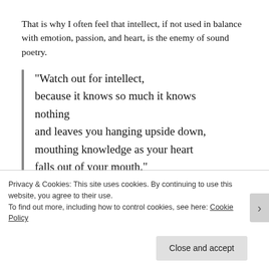That is why I often feel that intellect, if not used in balance with emotion, passion, and heart, is the enemy of sound poetry.
“Watch out for intellect, because it knows so much it knows nothing and leaves you hanging upside down, mouthing knowledge as your heart falls out of your mouth.”
Privacy & Cookies: This site uses cookies. By continuing to use this website, you agree to their use. To find out more, including how to control cookies, see here: Cookie Policy